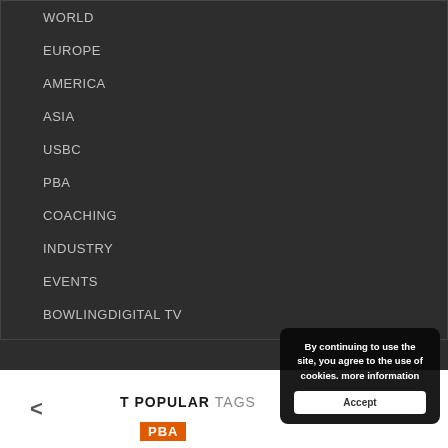WORLD
EUROPE
AMERICA
ASIA
USBC
PBA
COACHING
INDUSTRY
EVENTS
BOWLINGDIGITAL TV
COLUMNS
MOST POPULAR TAGS
PBA
By continuing to use the site, you agree to the use of cookies. more information
Accept